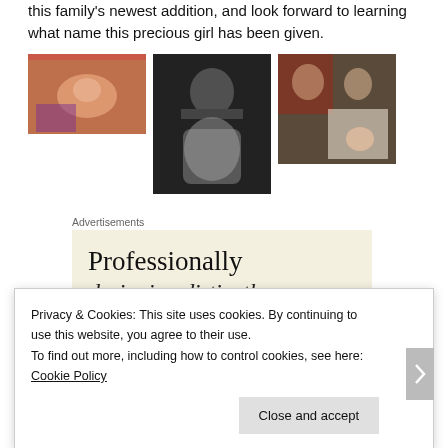this family's newest addition, and look forward to learning what name this precious girl has been given.
[Figure (photo): Three photos: left - newborn baby in colorful blanket, center - black and white photo of father holding newborn, right - couple holding newborn baby]
Advertisements
[Figure (other): Advertisement with beige background showing text 'Professionally' and partial line below]
Privacy & Cookies: This site uses cookies. By continuing to use this website, you agree to their use.
To find out more, including how to control cookies, see here: Cookie Policy
Close and accept